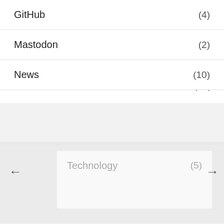GitHub (4)
Mastodon (2)
News (10)
Technology (5)
1. Link
2. Link
3. Link
4. Link
5. Link
6. Link